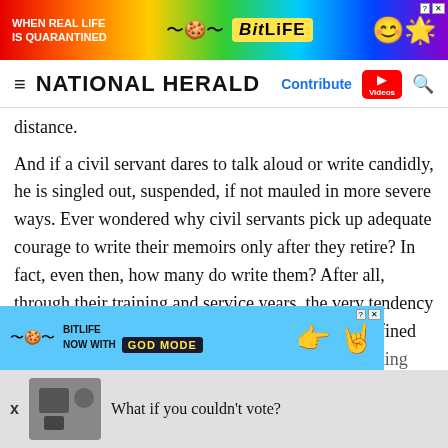[Figure (other): BitLife advertisement banner with rainbow background, text 'WHEN REAL LIFE IS QUARANTINED' and BitLife logo with emoji characters]
NATIONAL HERALD — Contribute | Videos | Search
distance.
And if a civil servant dares to talk aloud or write candidly, he is singled out, suspended, if not mauled in more severe ways. Ever wondered why civil servants pick up adequate courage to write their memoirs only after they retire? In fact, even then, how many do write them? After all, through their training and service years, the very tendency has been to refrain from offloading; remaining confined within the safe zone where there is little fear of getting ho
[Figure (other): BitLife 'NOW WITH GOD MODE' advertisement banner in light blue]
What if you couldn't vote?